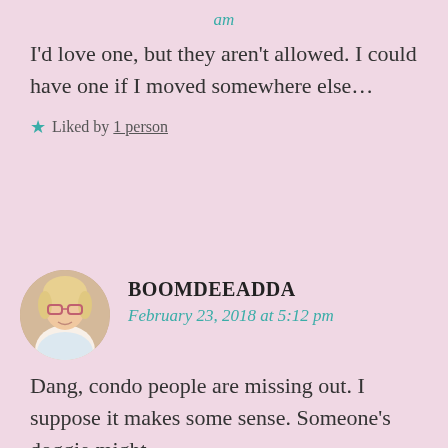am
I'd love one, but they aren't allowed. I could have one if I moved somewhere else…
★ Liked by 1 person
[Figure (photo): Circular avatar photo of a blonde woman with glasses]
BOOMDEEADDA
February 23, 2018 at 5:12 pm
Dang, condo people are missing out. I suppose it makes some sense. Someone's doggie might